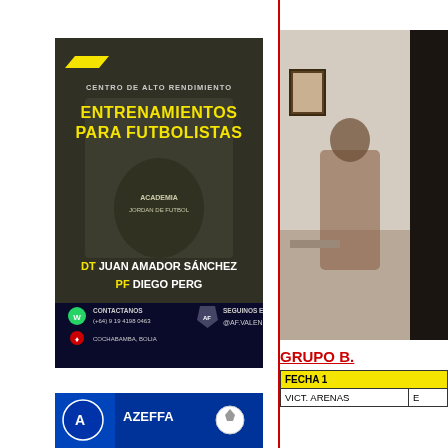[Figure (illustration): Dark-themed sports training advertisement: Centro de Alto Rendimiento, Entrenamientos Para Futbolistas. DT Juan Amador Sánchez, PF Diego Perg. Contact info and social media @AF.VALENCIA. Location: Cochabamba, Bolivia.]
[Figure (photo): Partial photo of a person at what appears to be a desk or table in an interior setting.]
[Figure (logo): Logo image at bottom left with blue and white design, AZEFFA branding.]
GRUPO B.
| FECHA 1 |  |
| --- | --- |
| VICT. ARENAS | E |